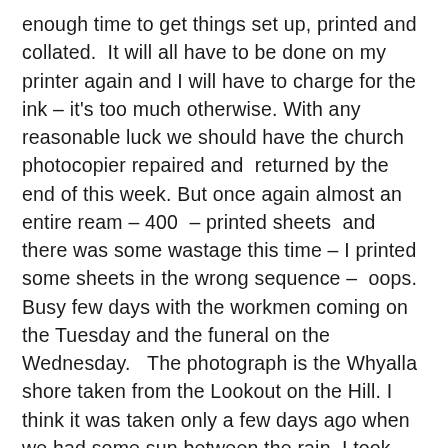enough time to get things set up, printed and collated. It will all have to be done on my printer again and I will have to charge for the ink – it's too much otherwise. With any reasonable luck we should have the church photocopier repaired and returned by the end of this week. But once again almost an entire ream – 400 – printed sheets and there was some wastage this time – I printed some sheets in the wrong sequence – oops. Busy few days with the workmen coming on the Tuesday and the funeral on the Wednesday. The photograph is the Whyalla shore taken from the Lookout on the Hill. I think it was taken only a few days ago when we had some sun between the rain. I took some photographs down at the wetlands of the birds and the ducks. Haven't sorted them out yet. Benji is having a hard time at the moment. We have not been out for a walk this morning. I will detail this in another post.